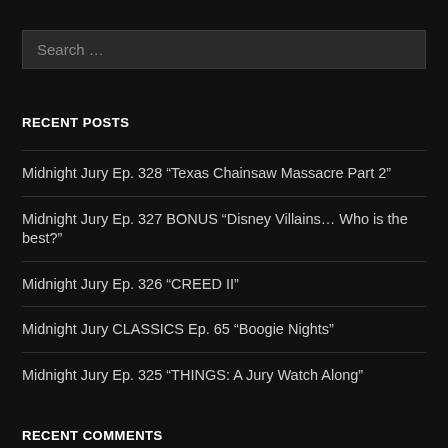Search …
RECENT POSTS
Midnight Jury Ep. 328 “Texas Chainsaw Massacre Part 2”
Midnight Jury Ep. 327 BONUS “Disney Villains… Who is the best?”
Midnight Jury Ep. 326 “CREED II”
Midnight Jury CLASSICS Ep. 65 “Boogie Nights”
Midnight Jury Ep. 325 “THINGS: A Jury Watch Along”
RECENT COMMENTS